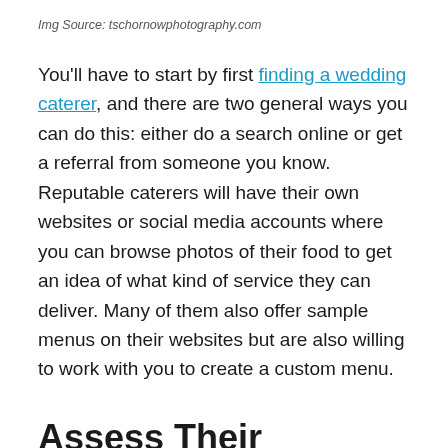Img Source: tschornowphotography.com
You'll have to start by first finding a wedding caterer, and there are two general ways you can do this: either do a search online or get a referral from someone you know. Reputable caterers will have their own websites or social media accounts where you can browse photos of their food to get an idea of what kind of service they can deliver. Many of them also offer sample menus on their websites but are also willing to work with you to create a custom menu.
Assess Their Reputation